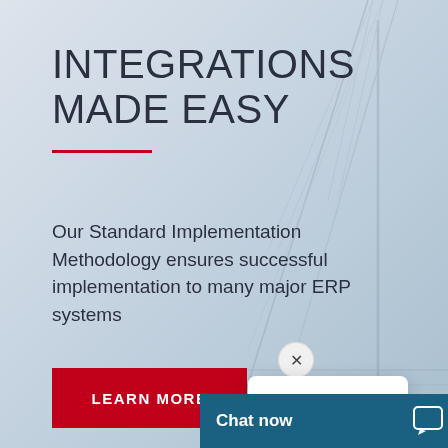INTEGRATIONS MADE EASY
Our Standard Implementation Methodology ensures successful implementation to many major ERP systems
LEARN MORE
Chat now